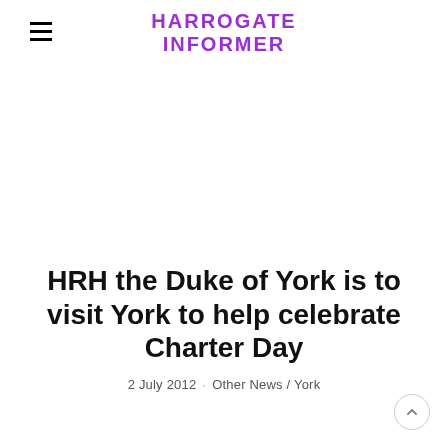HARROGATE INFORMER
HRH the Duke of York is to visit York to help celebrate Charter Day
2 July 2012 · Other News / York